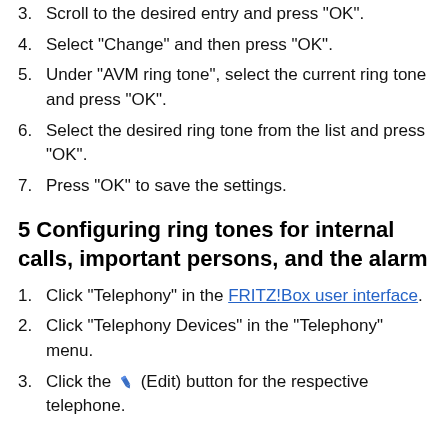3. Scroll to the desired entry and press "OK".
4. Select "Change" and then press "OK".
5. Under "AVM ring tone", select the current ring tone and press "OK".
6. Select the desired ring tone from the list and press "OK".
7. Press "OK" to save the settings.
5 Configuring ring tones for internal calls, important persons, and the alarm
1. Click "Telephony" in the FRITZ!Box user interface.
2. Click "Telephony Devices" in the "Telephony" menu.
3. Click the (Edit) button for the respective telephone.